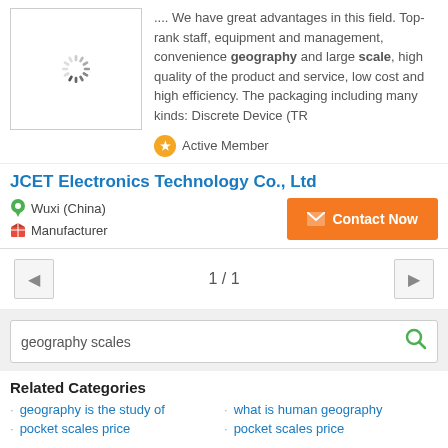[Figure (screenshot): Loading spinner image placeholder in a bordered box on the left, with product description text on the right.]
.... We have great advantages in this field. Top-rank staff, equipment and management, convenience geography and large scale, high quality of the product and service, low cost and high efficiency. The packaging including many kinds: Discrete Device (TR
Active Member
JCET Electronics Technology Co., Ltd
Wuxi (China)
Manufacturer
Contact Now
1 / 1
geography scales
Related Categories
geography is the study of
what is human geography
pocket scales price
pocket scales price